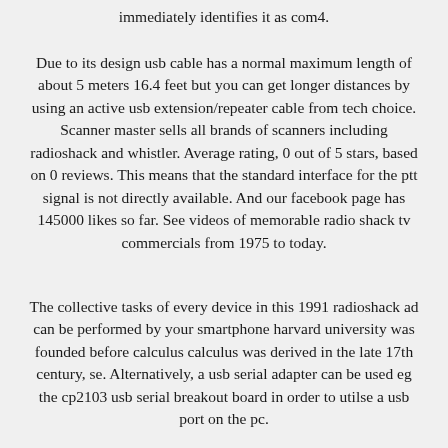immediately identifies it as com4.
Due to its design usb cable has a normal maximum length of about 5 meters 16.4 feet but you can get longer distances by using an active usb extension/repeater cable from tech choice. Scanner master sells all brands of scanners including radioshack and whistler. Average rating, 0 out of 5 stars, based on 0 reviews. This means that the standard interface for the ptt signal is not directly available. And our facebook page has 145000 likes so far. See videos of memorable radio shack tv commercials from 1975 to today.
The collective tasks of every device in this 1991 radioshack ad can be performed by your smartphone harvard university was founded before calculus calculus was derived in the late 17th century, se. Alternatively, a usb serial adapter can be used eg the cp2103 usb serial breakout board in order to utilse a usb port on the pc.